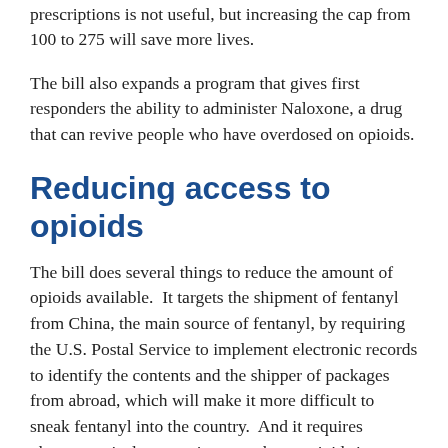prescriptions is not useful, but increasing the cap from 100 to 275 will save more lives.
The bill also expands a program that gives first responders the ability to administer Naloxone, a drug that can revive people who have overdosed on opioids.
Reducing access to opioids
The bill does several things to reduce the amount of opioids available.  It targets the shipment of fentanyl from China, the main source of fentanyl, by requiring the U.S. Postal Service to implement electronic records to identify the contents and the shipper of packages from abroad, which will make it more difficult to sneak fentanyl into the country.  And it requires pharmaceutical companies to package opioids in smaller quantities to restrict the number of pills an individual may receive.